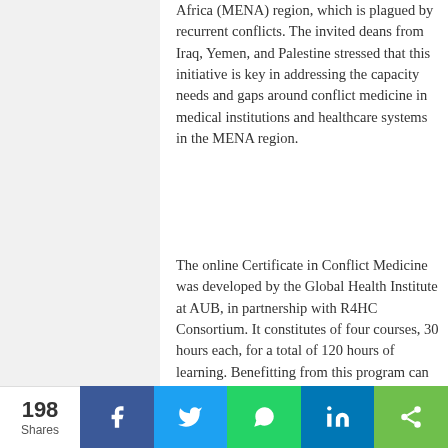Africa (MENA) region, which is plagued by recurrent conflicts. The invited deans from Iraq, Yemen, and Palestine stressed that this initiative is key in addressing the capacity needs and gaps around conflict medicine in medical institutions and healthcare systems in the MENA region.
The online Certificate in Conflict Medicine was developed by the Global Health Institute at AUB, in partnership with R4HC Consortium. It constitutes of four courses, 30 hours each, for a total of 120 hours of learning. Benefitting from this program can be medical and nursing students, medical trainees, medical practitioners, nurses, and/or other allied health professionals.
Our website uses cookies to analyze web traffic and provide a simple user interface. Learn more
Got it!
About GHI
198 Shares | Facebook | Twitter | WhatsApp | LinkedIn | Share